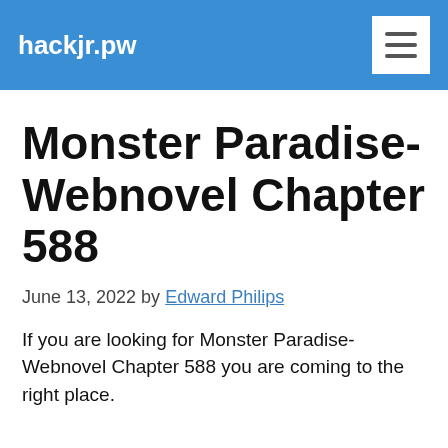hackjr.pw
Monster Paradise-Webnovel Chapter 588
June 13, 2022 by Edward Philips
If you are looking for Monster Paradise-Webnovel Chapter 588 you are coming to the right place.